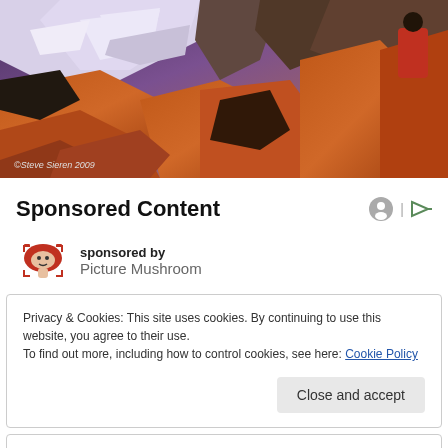[Figure (photo): Mountain landscape with snow-capped rocky peaks bathed in warm orange/golden light at sunrise or sunset. A person in red clothing is visible on the right. Photo credit: ©Steve Sieren 2009]
©Steve Sieren 2009
Sponsored Content
sponsored by
Picture Mushroom
Privacy & Cookies: This site uses cookies. By continuing to use this website, you agree to their use.
To find out more, including how to control cookies, see here: Cookie Policy
Close and accept